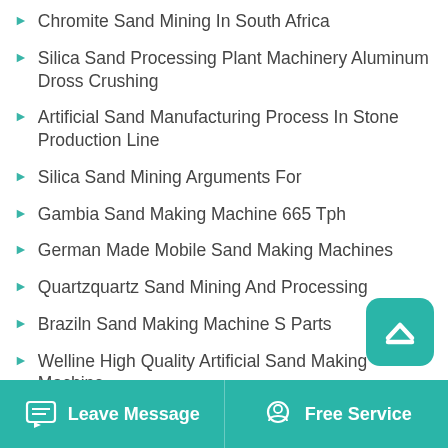Chromite Sand Mining In South Africa
Silica Sand Processing Plant Machinery Aluminum Dross Crushing
Artificial Sand Manufacturing Process In Stone Production Line
Silica Sand Mining Arguments For
Gambia Sand Making Machine 665 Tph
German Made Mobile Sand Making Machines
Quartzquartz Sand Mining And Processing
Braziln Sand Making Machine S Parts
Welline High Quality Artificial Sand Making Machine
Leave Message   Free Service